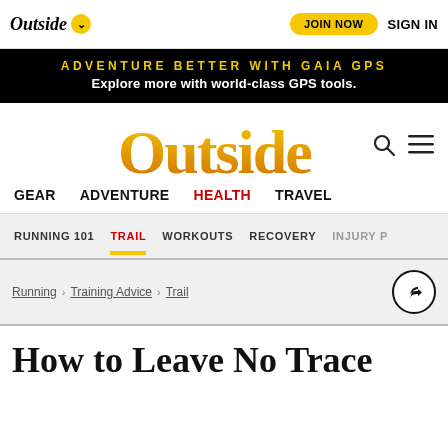Outside | JOIN NOW | SIGN IN
ADVENTURE BETTER WITH GAIA GPS
Explore more with world-class GPS tools.
[Figure (logo): Outside magazine large yellow logo]
GEAR   ADVENTURE   HEALTH   TRAVEL
RUNNING 101   TRAIL   WORKOUTS   RECOVERY   INJURY
Running > Training Advice > Trail
How to Leave No Trace